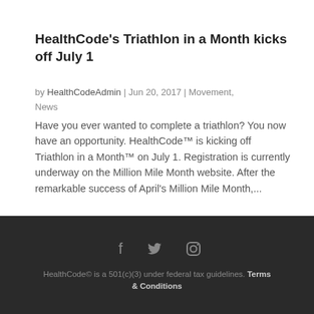HealthCode's Triathlon in a Month kicks off July 1
by HealthCodeAdmin | Jun 20, 2017 | Movement, News
Have you ever wanted to complete a triathlon? You now have an opportunity. HealthCode™ is kicking off Triathlon in a Month™ on July 1. Registration is currently underway on the Million Mile Month website. After the remarkable success of April's Million Mile Month,...
HealthCode© is a 501(c)(3) under federal tax guidelines. Terms & Conditions